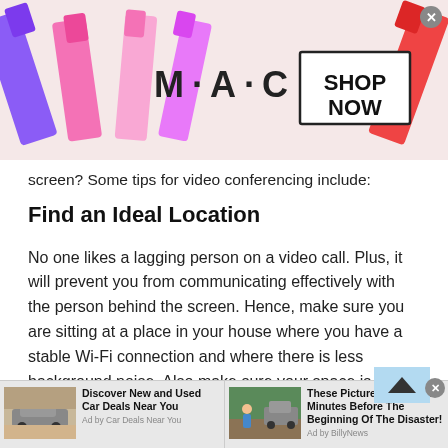[Figure (photo): MAC cosmetics advertisement banner showing lipsticks in purple, pink and red colors, MAC logo text, and a 'SHOP NOW' button in a rectangular border. Close X button in top right corner.]
screen? Some tips for video conferencing include:
Find an Ideal Location
No one likes a lagging person on a video call. Plus, it will prevent you from communicating effectively with the person behind the screen. Hence, make sure you are sitting at a place in your house where you have a stable Wi-Fi connection and where there is less background noise. Also make sure your space is tidy and clean, because your surroundings will also make an impression
[Figure (photo): Two bottom advertisement units side by side. Left: SUV car ad 'Discover New and Used Car Deals Near You' by Car Deals Near You. Right: outdoor adventure photo 'These Pictures Was Taken Minutes Before The Beginning Of The Disaster!' by BillyNews.]